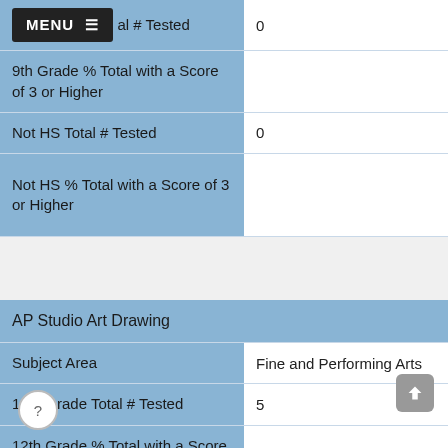| Field | Value |
| --- | --- |
| [MENU] …al # Tested | 0 |
| 9th Grade % Total with a Score of 3 or Higher |  |
| Not HS Total # Tested | 0 |
| Not HS % Total with a Score of 3 or Higher |  |
| AP Studio Art Drawing |  |
| --- | --- |
| Subject Area | Fine and Performing Arts |
| 12th Grade Total # Tested | 5 |
| 12th Grade % Total with a Score of 3 or Higher | 100% |
| 11th Grade Total # Tested | 0 |